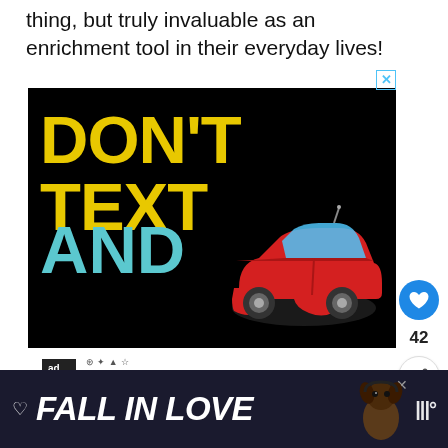thing, but truly invaluable as an enrichment tool in their everyday lives!
[Figure (infographic): Advertisement: Black background with yellow bold text 'DON'T TEXT' and cyan/teal bold text 'AND' with a red car emoji. Bottom shows 'ad council' badge and 'NHTSA' logo. A blue X close button in top right corner.]
[Figure (infographic): Bottom banner advertisement with dark navy background showing 'FALL IN LOVE' in large bold italic white text with a heart outline icon, a dog image on the right, and a music streaming logo (looks like Pandora/music service triple bars). An X close button in upper right.]